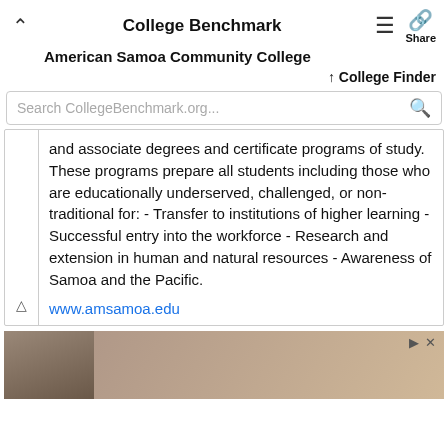College Benchmark
American Samoa Community College
College Finder
Search CollegeBenchmark.org...
and associate degrees and certificate programs of study. These programs prepare all students including those who are educationally underserved, challenged, or non-traditional for: - Transfer to institutions of higher learning - Successful entry into the workforce - Research and extension in human and natural resources - Awareness of Samoa and the Pacific.
www.amsamoa.edu
[Figure (photo): Advertisement banner showing a person with curly hair]